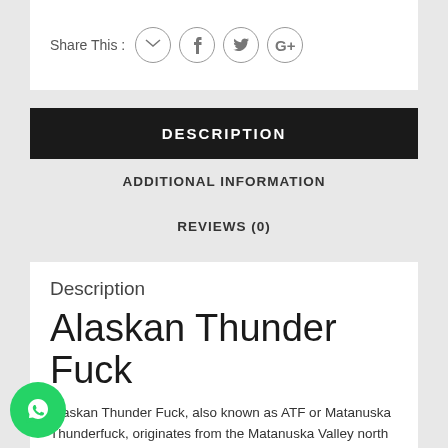Share This :
DESCRIPTION
ADDITIONAL INFORMATION
REVIEWS (0)
Description
Alaskan Thunder Fuck
Alaskan Thunder Fuck, also known as ATF or Matanuska Thunderfuck, originates from the Matanuska Valley north of Anchorage, Alaska. This sativa hybrid is one of the most popular strains from